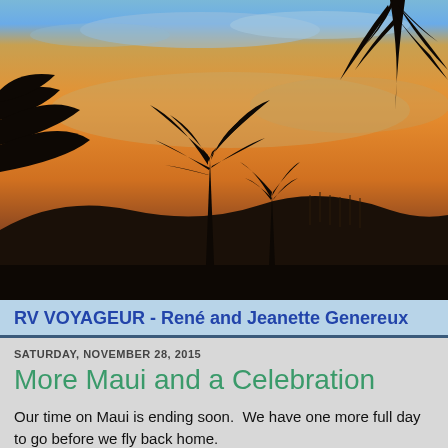[Figure (photo): Sunset photo with palm tree silhouettes against an orange and golden sky with hills and wind turbines in the background. A thin blue sky strip is visible at the very top.]
RV VOYAGEUR - René and Jeanette Genereux
SATURDAY, NOVEMBER 28, 2015
More Maui and a Celebration
Our time on Maui is ending soon.  We have one more full day to go before we fly back home.